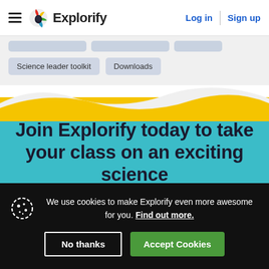Explorify — Log in | Sign up
Science leader toolkit
Downloads
Join Explorify today to take your class on an exciting science
We use cookies to make Explorify even more awesome for you. Find out more.
No thanks | Accept Cookies